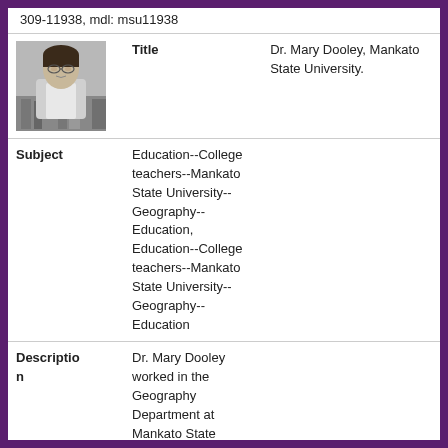309-11938, mdl: msu11938
[Figure (photo): Black and white portrait photo of Dr. Mary Dooley]
| Title | Dr. Mary Dooley, Mankato State University. |
| Subject | Education--College teachers--Mankato State University--Geography--Education, Education--College teachers--Mankato State University--Geography--Education |
| Description | Dr. Mary Dooley worked in the Geography Department at Mankato State University, 1980s. |
| Date | 1980 |
| MDL Identifier | msu11926 |
| Identifier | MSUrepository:3481, local: MSU-UA-309-11926, mdl: msu11926 |